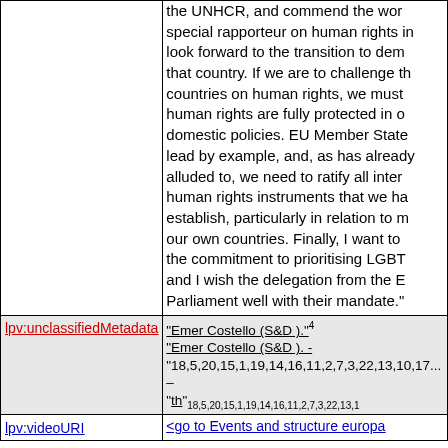the UNHCR, and commend the work of the special rapporteur on human rights in, look forward to the transition to democracy in that country. If we are to challenge the countries on human rights, we must ensure human rights are fully protected in our own domestic policies. EU Member States must lead by example, and, as has already been alluded to, we need to ratify all international human rights instruments that we have helped establish, particularly in relation to minorities in our own countries. Finally, I want to welcome the commitment to prioritising LGBT rights, and I wish the delegation from the European Parliament well with their mandate."
| Property | Value |
| --- | --- |
| lpv:unclassifiedMetadata | "Emer Costello (S&D )."4
"Emer Costello (S&D ). -
"18,5,20,15,1,19,14,16,11,2,7,3,22,13,10,17 -
"th"18,5,20,15,1,19,14,16,11,2,7,3,22,13,10,1... |
| lpv:videoURI | <go to Events and structure europa... |
Named graphs describing this resource:
1 http://purl.org/linkedpolitics/rdf/Czech.ttl.gz